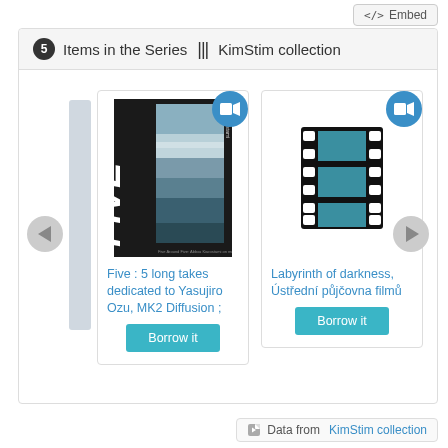</>  Embed
5 Items in the Series ||| KimStim collection
[Figure (illustration): Partially visible blue card/chevron on left side of carousel]
[Figure (photo): DVD/film cover for 'Five: 5 long takes dedicated to Yasujiro Ozu' by Abbas Kiarostami with blue video camera badge overlay]
Five : 5 long takes dedicated to Yasujiro Ozu, MK2 Diffusion ;
Borrow it
[Figure (illustration): Film reel icon (black and teal filmstrip) with blue video camera badge overlay for Labyrinth of darkness item]
Labyrinth of darkness, Ústřední půjčovna filmů
Borrow it
Data from KimStim collection